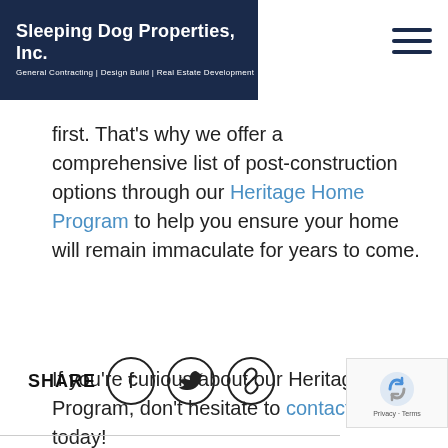Sleeping Dog Properties, Inc. | General Contracting | Design Build | Real Estate Development
first. That's why we offer a comprehensive list of post-construction options through our Heritage Home Program to help you ensure your home will remain immaculate for years to come.
If you're curious about our Heritage Home Program, don't hesitate to contact us today!
SHARE